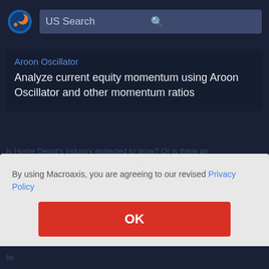[Figure (logo): Macroaxis globe logo — blue and orange circular icon]
US Search
Aroon Oscillator
Analyze current equity momentum using Aroon Oscillator and other momentum ratios
Is Home Depot's industry expected to grow? Or is there an
By using Macroaxis, you are agreeing to our revised Privacy Policy
OK
Home
nancial
ential